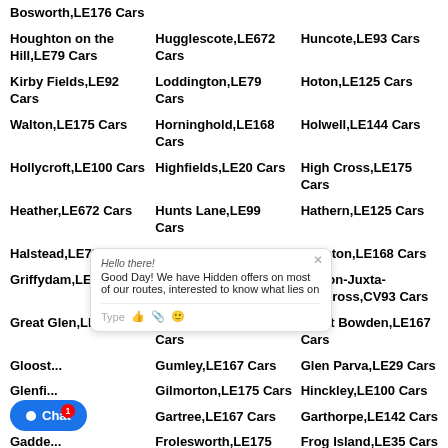Bosworth,LE176 Cars
Hugglescote,LE672 Cars
Huncote,LE93 Cars
Houghton on the Hill,LE79 Cars
Loddington,LE79 Cars
Hoton,LE125 Cars
Kirby Fields,LE92 Cars
Horninghold,LE168 Cars
Holwell,LE144 Cars
Walton,LE175 Cars
Highfields,LE20 Cars
High Cross,LE175 Cars
Hollycroft,LE100 Cars
Hunts Lane,LE99 Cars
Hathern,LE125 Cars
Heather,LE672 Cars
Harby,LE144 Cars
Hallaton,LE168 Cars
Halstead,LE79 Cars
Griffydam,LE678 Cars
Greenhill,LE674 Cars
Norton-Juxta-Twycross,CV93 Cars
Great Glen,LE89 Cars
Great Easton,LE168 Cars
Great Bowden,LE167 Cars
Gloost...
Gumley,LE167 Cars
Glen Parva,LE29 Cars
Glenfi...
Gilmorton,LE175 Cars
Hinckley,LE100 Cars
Gaulby...
Gartree,LE167 Cars
Garthorpe,LE142 Cars
Gadde...
Frolesworth,LE175 Cars
Frog Island,LE35 Cars
Frisby,LE79 Cars
Freeby,LE142 Cars
Foxton,LE167 Cars
F...5 Cars
Fleckney,LE88 Cars
Field Head,LE679 Cars